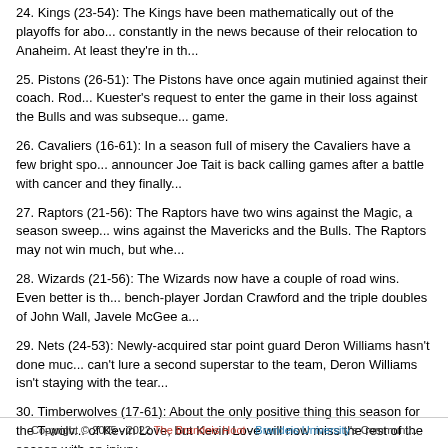24. Kings (23-54): The Kings have been mathematically out of the playoffs for abo... constantly in the news because of their relocation to Anaheim. At least they're in th...
25. Pistons (26-51): The Pistons have once again mutinied against their coach. Rod... Kuester's request to enter the game in their loss against the Bulls and was subseque... game.
26. Cavaliers (16-61): In a season full of misery the Cavaliers have a few bright spo... announcer Joe Tait is back calling games after a battle with cancer and they finally...
27. Raptors (21-56): The Raptors have two wins against the Magic, a season sweep... wins against the Mavericks and the Bulls. The Raptors may not win much, but whe...
28. Wizards (21-56): The Wizards now have a couple of road wins. Even better is th... bench-player Jordan Crawford and the triple doubles of John Wall, Javele McGee a...
29. Nets (24-53): Newly-acquired star point guard Deron Williams hasn't done muc... can't lure a second superstar to the team, Deron Williams isn't staying with the tear...
30. Timberwolves (17-61): About the only positive thing this season for the T-wolv... of Kevin Love, but Kevin Love will now miss the rest of the season with an injury.
Copyright © 2005 - 2022 The Brandeis Hoot - Brandeis University's Communi...